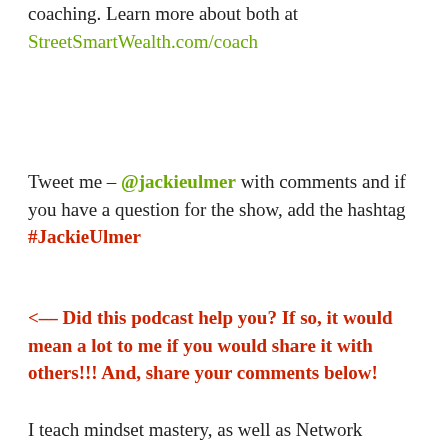coaching. Learn more about both at StreetSmartWealth.com/coach
Tweet me – @jackieulmer with comments and if you have a question for the show, add the hashtag #JackieUlmer
<–– Did this podcast help you? If so, it would mean a lot to me if you would share it with others!!! And, share your comments below!
I teach mindset mastery, as well as Network